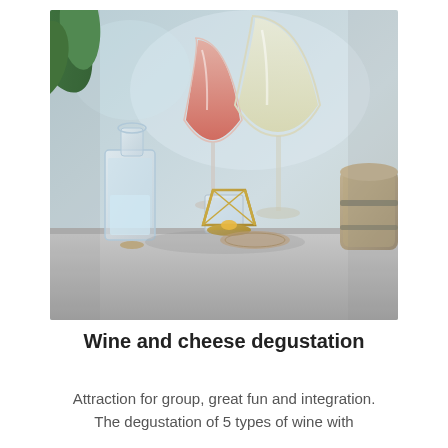[Figure (photo): A styled table scene with wine glasses containing rosé and white wine, a clear glass carafe with water, a small gold geometric lantern with a candle, wooden coasters, and a stone/ceramic barrel on the right. Green plant leaves visible in the upper left corner. Background is a soft blurred window light.]
Wine and cheese degustation
Attraction for group, great fun and integration. The degustation of 5 types of wine with